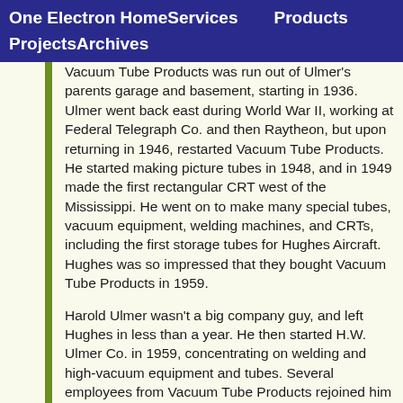One Electron Home   Services   Products   Projects   Archives
Vacuum Tube Products was run out of Ulmer's parents garage and basement, starting in 1936. Ulmer went back east during World War II, working at Federal Telegraph Co. and then Raytheon, but upon returning in 1946, restarted Vacuum Tube Products. He started making picture tubes in 1948, and in 1949 made the first rectangular CRT west of the Mississippi. He went on to make many special tubes, vacuum equipment, welding machines, and CRTs, including the first storage tubes for Hughes Aircraft. Hughes was so impressed that they bought Vacuum Tube Products in 1959.
Harold Ulmer wasn't a big company guy, and left Hughes in less than a year. He then started H.W. Ulmer Co. in 1959, concentrating on welding and high-vacuum equipment and tubes. Several employees from Vacuum Tube Products rejoined him at H.W Ulmer Co. H.W. Ulmer Co. merged with Denver-based Microtron and concentrated on making welding equipment. Due to back problems, Harold left Microtron in 1963.